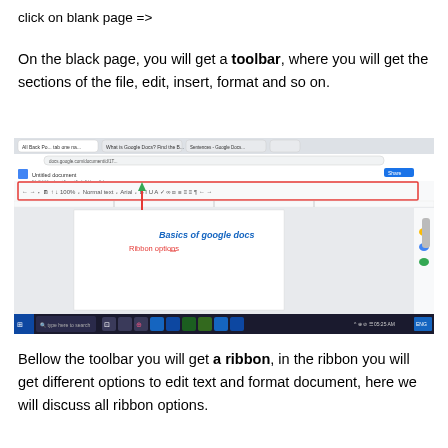click on blank page =>
On the black page, you will get a toolbar, where you will get the sections of the file, edit, insert, format and so on.
[Figure (screenshot): Screenshot of Google Docs in a browser window, showing the toolbar/ribbon area highlighted with a red rectangle. A red arrow points down to the ribbon area. Text annotations read 'Basics of google docs' in blue bold italic and 'Ribbon options' in red below the arrow.]
Bellow the toolbar you will get a ribbon, in the ribbon you will get different options to edit text and format document, here we will discuss all ribbon options.